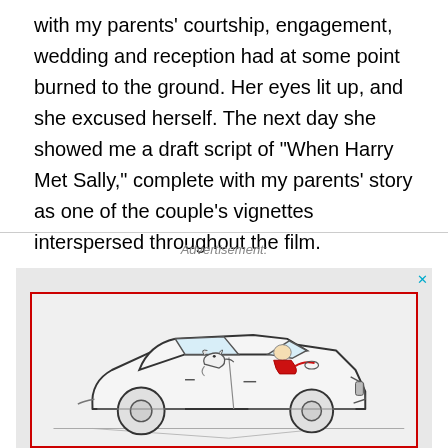with my parents' courtship, engagement, wedding and reception had at some point burned to the ground. Her eyes lit up, and she excused herself. The next day she showed me a draft script of "When Harry Met Sally," complete with my parents' story as one of the couple's vignettes interspersed throughout the film.
Advertisement:
[Figure (illustration): A cartoon line drawing of a vintage/classic car viewed from the side. Inside the car, a person in a red top is driving, and a small dog (appears to be a bull terrier or similar) is in the passenger/back area. The car has round wheels with circular hubcaps and a rounded retro body style.]